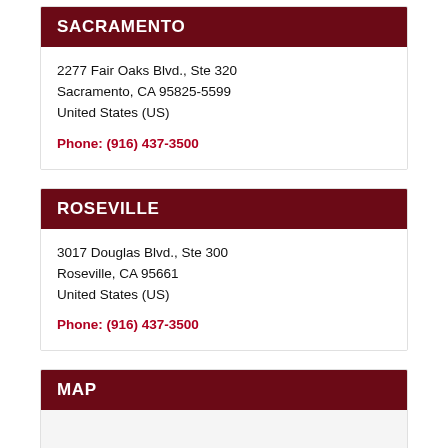SACRAMENTO
2277 Fair Oaks Blvd., Ste 320
Sacramento, CA 95825-5599
United States (US)
Phone: (916) 437-3500
ROSEVILLE
3017 Douglas Blvd., Ste 300
Roseville, CA 95661
United States (US)
Phone: (916) 437-3500
MAP
[Figure (map): Map placeholder area (blank/light grey)]